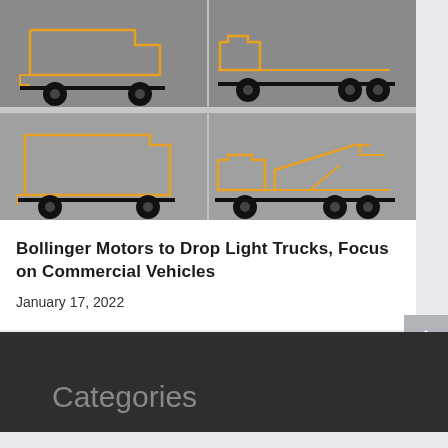[Figure (illustration): Four orange-outlined commercial vehicle silhouettes on gray background: top row shows a box truck (cab-over) and a flatbed/chassis truck; bottom row shows a step-van style truck and a tow/wrecker truck. All are side-profile line drawings with orange outlines on dark chassis components.]
Bollinger Motors to Drop Light Trucks, Focus on Commercial Vehicles
January 17, 2022
Categories